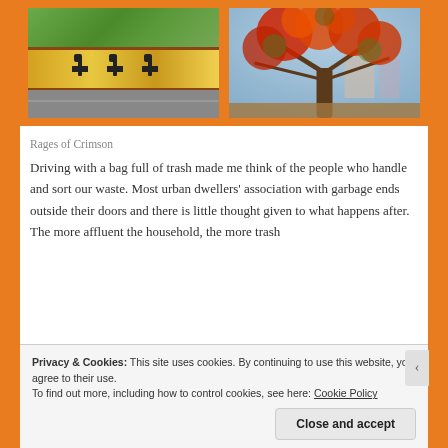[Figure (photo): Left photo: A bridge or overpass structure with a colorful mural featuring giraffes on a yellow background, trees with green foliage above, and a road below.]
[Figure (photo): Right photo: A large tree with brilliant red/orange blossoms (likely a Gulmohar/Flamboyant tree) against a blue sky with urban buildings in the background.]
Rages of Crimson
Driving with a bag full of trash made me think of the people who handle and sort our waste. Most urban dwellers’ association with garbage ends outside their doors and there is little thought given to what happens after. The more affluent the household, the more trash
Privacy & Cookies: This site uses cookies. By continuing to use this website, you agree to their use.
To find out more, including how to control cookies, see here: Cookie Policy
Close and accept